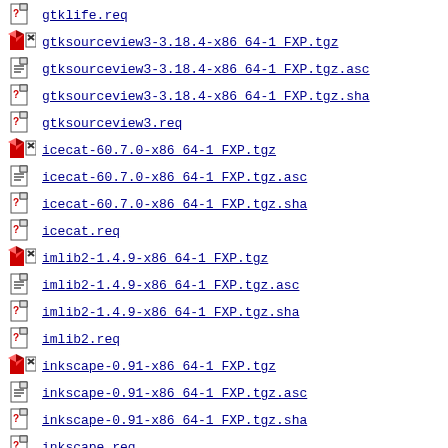gtklife.req
gtksourceview3-3.18.4-x86_64-1_FXP.tgz
gtksourceview3-3.18.4-x86_64-1_FXP.tgz.asc
gtksourceview3-3.18.4-x86_64-1_FXP.tgz.sha
gtksourceview3.req
icecat-60.7.0-x86_64-1_FXP.tgz
icecat-60.7.0-x86_64-1_FXP.tgz.asc
icecat-60.7.0-x86_64-1_FXP.tgz.sha
icecat.req
imlib2-1.4.9-x86_64-1_FXP.tgz
imlib2-1.4.9-x86_64-1_FXP.tgz.asc
imlib2-1.4.9-x86_64-1_FXP.tgz.sha
imlib2.req
inkscape-0.91-x86_64-1_FXP.tgz
inkscape-0.91-x86_64-1_FXP.tgz.asc
inkscape-0.91-x86_64-1_FXP.tgz.sha
inkscape.req
...